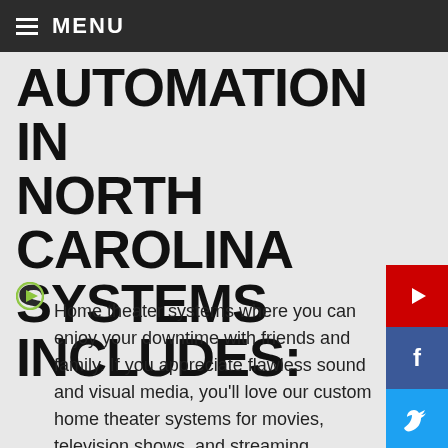≡ MENU
AUTOMATION IN NORTH CAROLINA SYSTEMS INCLUDES:
Home theater systems where you can enjoy your downtime with friends and family. If you appreciate flawless sound and visual media, you'll love our custom home theater systems for movies, television shows, and streaming content.
[Figure (infographic): Social media icon sidebar: YouTube (red), Facebook (dark blue), Twitter (blue), LinkedIn (blue), Flickr (dark blue/pink), Instagram (dark purple/pink), Tumblr (dark blue), Pinterest (red), Reddit (orange-red), MySpace/other (dark blue)]